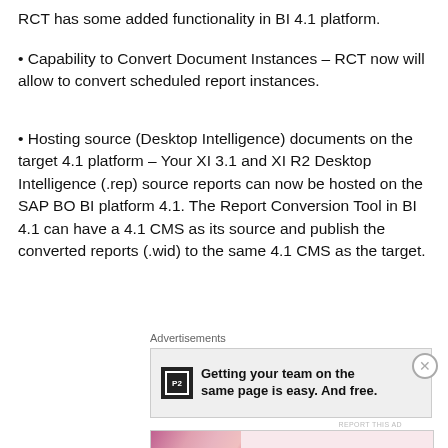RCT has some added functionality in BI 4.1 platform.
• Capability to Convert Document Instances – RCT now will allow to convert scheduled report instances.
• Hosting source (Desktop Intelligence) documents on the target 4.1 platform – Your XI 3.1 and XI R2 Desktop Intelligence (.rep) source reports can now be hosted on the SAP BO BI platform 4.1. The Report Conversion Tool in BI 4.1 can have a 4.1 CMS as its source and publish the converted reports (.wid) to the same 4.1 CMS as the target.
Advertisements
[Figure (other): Advertisement banner: P2 logo with text 'Getting your team on the same page is easy. And free.']
Advertisements
[Figure (other): Advertisement banner: MAC cosmetics ad showing lipsticks with 'SHOP NOW' button]